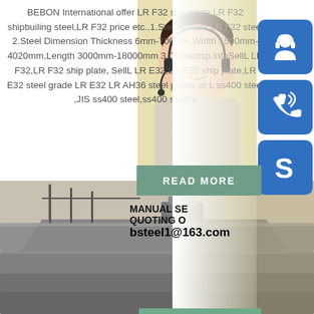BEBON International offer LR F32 ship plate,LR F32 shipbuiling steel,LR F32 price etc..1.Steel Grade LR F32 steel 2.Steel Dimension Thickness 6mm-700mm,Width 1500mm-4020mm,Length 3000mm-18000mm 3.Contactsp.infoSellL LR F32,LR F32 ship plate, SellL LR E32,LR E32 ship plate,LR E32 steel grade LR E32 LR AH36 steel plates or L ss400 steel ,JIS ss400 steel,ss400 steel s
[Figure (photo): Asian woman with headset, customer service representative, against blurred background]
[Figure (illustration): Three blue rounded square icons: headset/person icon, phone with signal waves icon, Skype 'S' logo icon arranged vertically on right side]
READ MORE
MANUAL SE
QUOTING O
bsteel1@163.com
[Figure (photo): Industrial steel plates and ship structure at bottom of page, large metal sheets stacked]